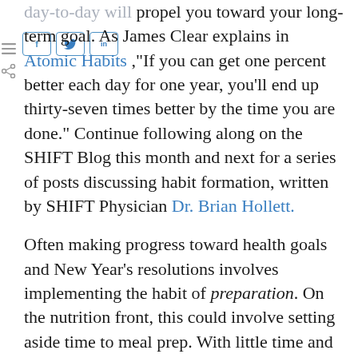day-to-day will propel you toward your long-term goal. As James Clear explains in Atomic Habits ,"If you can get one percent better each day for one year, you'll end up thirty-seven times better by the time you are done." Continue following along on the SHIFT Blog this month and next for a series of posts discussing habit formation, written by SHIFT Physician Dr. Brian Hollett.
Often making progress toward health goals and New Year's resolutions involves implementing the habit of preparation. On the nutrition front, this could involve setting aside time to meal prep. With little time and